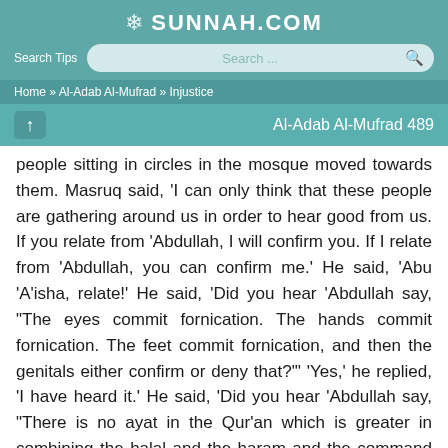SUNNAH.COM
Search Tips  Search ...
Home » Al-Adab Al-Mufrad » Injustice
Al-Adab Al-Mufrad 489
people sitting in circles in the mosque moved towards them. Masruq said, 'I can only think that these people are gathering around us in order to hear good from us. If you relate from 'Abdullah, I will confirm you. If I relate from 'Abdullah, you can confirm me.' He said, 'Abu 'A'isha, relate!' He said, 'Did you hear 'Abdullah say, "The eyes commit fornication. The hands commit fornication. The feet commit fornication, and then the genitals either confirm or deny that?"' 'Yes,' he replied, 'I have heard it.' He said, 'Did you hear 'Abdullah say, "There is no ayat in the Qur'an which is greater in combining the halal and the haram and the command and the prohibition than this ayat: 'Indeed Allah commands to justice and doing good and giving to relatives' (16.90)?"' 'Yes,' he replied, 'I have heard